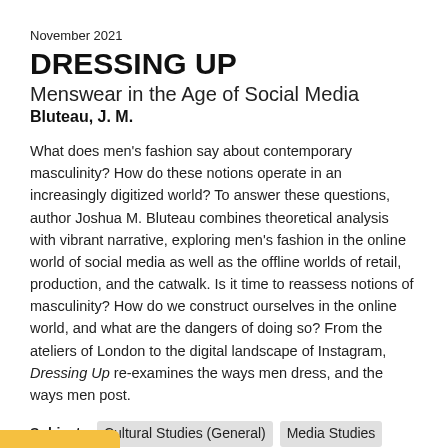November 2021
DRESSING UP
Menswear in the Age of Social Media
Bluteau, J. M.
What does men's fashion say about contemporary masculinity? How do these notions operate in an increasingly digitized world? To answer these questions, author Joshua M. Bluteau combines theoretical analysis with vibrant narrative, exploring men's fashion in the online world of social media as well as the offline worlds of retail, production, and the catwalk. Is it time to reassess notions of masculinity? How do we construct ourselves in the online world, and what are the dangers of doing so? From the ateliers of London to the digital landscape of Instagram, Dressing Up re-examines the ways men dress, and the ways men post.
Subjects: Cultural Studies (General) Media Studies Anthropology (General)